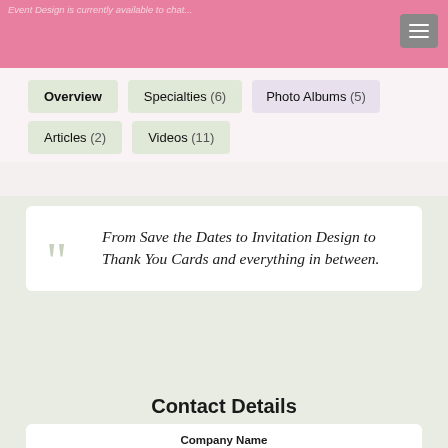Event Design is currently available to chat...
Overview
Specialties (6)
Photo Albums (5)
Articles (2)
Videos (11)
From Save the Dates to Invitation Design to Thank You Cards and everything in between.
Contact Details
Company Name
Sofia + Abbie Wedding and Event Design